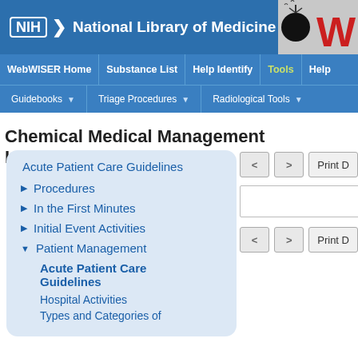[Figure (screenshot): NIH National Library of Medicine header bar with logo and WebWISER branding on right]
WebWISER Home | Substance List | Help Identify | Tools | Help
Guidebooks ▼ | Triage Procedures ▼ | Radiological Tools ▼
Chemical Medical Management Information
Acute Patient Care Guidelines
▶ Procedures
▶ In the First Minutes
▶ Initial Event Activities
▼ Patient Management
Acute Patient Care Guidelines
Hospital Activities
Types and Categories of